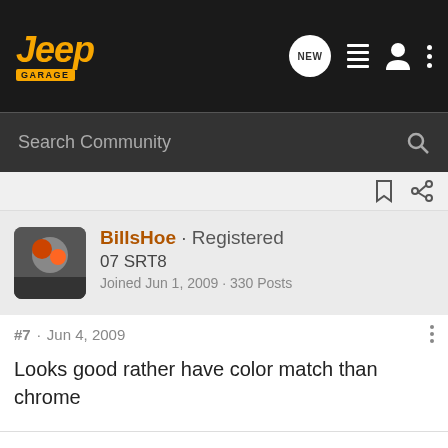[Figure (logo): Jeep Garage logo — orange italic 'Jeep' text with 'GARAGE' label below on orange background]
Search Community
BillsHoe · Registered
07 SRT8
Joined Jun 1, 2009 · 330 Posts
#7 · Jun 4, 2009
Looks good rather have color match than chrome
BILLY 07 SRT8